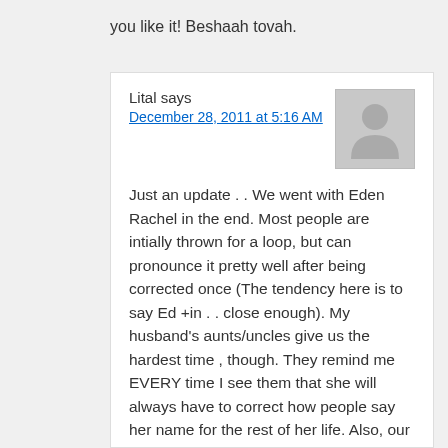you like it! Beshaah tovah.
Lital says
December 28, 2011 at 5:16 AM
[Figure (illustration): Default user avatar placeholder — silhouette of a person on grey background]
Just an update . . We went with Eden Rachel in the end. Most people are intially thrown for a loop, but can pronounce it pretty well after being corrected once (The tendency here is to say Ed +in . . close enough). My husband's aunts/uncles give us the hardest time , though. They remind me EVERY time I see them that she will always have to correct how people say her name for the rest of her life. Also, our parent's generation like to point out that the proper way to pronounce (Gan) Eden is (Gan) Ayden, which is not how I heard Israelis do it . . and sounds a bit shtetl for my taste. Anyway, despite all this , we absolutely LOVE the name, and it really suits our gorgeous, happy little